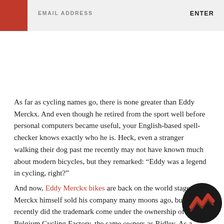EMAIL ADDRESS   ENTER
As far as cycling names go, there is none greater than Eddy Merckx. And even though he retired from the sport well before personal computers became useful, your English-based spell-checker knows exactly who he is. Heck, even a stranger walking their dog past me recently may not have known much about modern bicycles, but they remarked: “Eddy was a legend in cycling, right?”
And now, Eddy Merckx bikes are back on the world stage. Merckx himself sold his company many moons ago, but only recently did the trademark come under the ownership of the Belgium Cycling Factory, the same owners as Ridley. As a result, the famed Belgian cy... now finds his name emblazoned on a whole new ra... Belgian-designed bikes and with a large enough